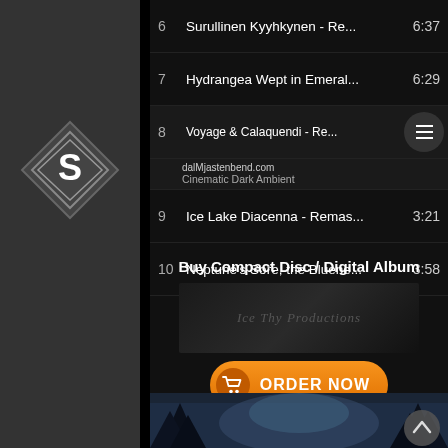[Figure (logo): Diamond-shaped logo with S letter on grey sidebar]
6  Surullinen Kyyhkynen - Re...  6:37
7  Hydrangea Wept in Emeral...  6:29
8  Voyage & Calaquendi - Re...  4:54
dalMjastenbend.com
Cinematic Dark Ambient
9  Ice Lake Diacenna - Remas...  3:21
10  Neptune's Sore, the Bluene...  3:58
Buy Compact Disc / Digital Album
[Figure (illustration): Dark album banner with stylized script text logo]
[Figure (illustration): Orange ORDER NOW button with shopping cart icon]
Click to buy "Harmonious Euphonies For Supernatural Traumas Mesmerising Our Existences In Radient Corpuscle Galaxies" CD / Digital Album!
[Figure (photo): Dark forest scene with foggy blue light through trees]